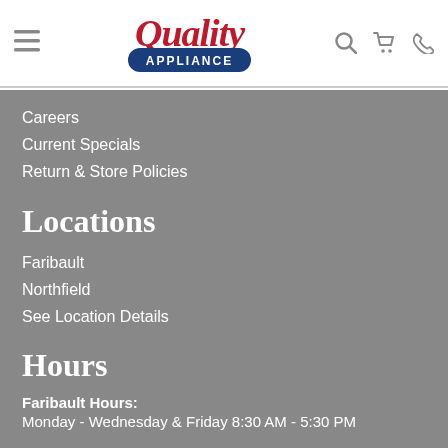Quality Appliance — navigation header with hamburger menu, logo, search, cart, and phone icons
Careers
Current Specials
Return & Store Policies
Locations
Faribault
Northfield
See Location Details
Hours
Faribault Hours:
Monday - Wednesday & Friday 8:30 AM - 5:30 PM